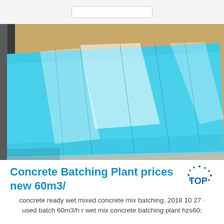[Figure (photo): Blue shiny aluminum or plastic sheet material laid flat, photographed from above at an angle, showing reflective highlights and faint score lines on the surface. Background shows brown cardboard.]
Concrete Batching Plant prices new 60m3/ TOP
concrete ready wet mixed concrete mix batching. 2018 10 27 · used batch 60m3/h r wet mix concrete batching plant hzs60;